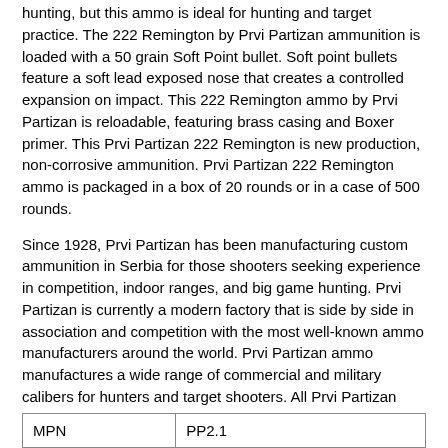hunting, but this ammo is ideal for hunting and target practice. The 222 Remington by Prvi Partizan ammunition is loaded with a 50 grain Soft Point bullet. Soft point bullets feature a soft lead exposed nose that creates a controlled expansion on impact. This 222 Remington ammo by Prvi Partizan is reloadable, featuring brass casing and Boxer primer. This Prvi Partizan 222 Remington is new production, non-corrosive ammunition. Prvi Partizan 222 Remington ammo is packaged in a box of 20 rounds or in a case of 500 rounds.
Since 1928, Prvi Partizan has been manufacturing custom ammunition in Serbia for those shooters seeking experience in competition, indoor ranges, and big game hunting. Prvi Partizan is currently a modern factory that is side by side in association and competition with the most well-known ammo manufacturers around the world. Prvi Partizan ammo manufactures a wide range of commercial and military calibers for hunters and target shooters. All Prvi Partizan ammo meets SAAMI standards and is managed by an internal quality system to make sure there is 100% customer satisfaction.
Free shipping on Prvi Partizan 222 Remington Bulk ammo
222 Remington ammunition is perfect for hunting and target practice
Prvi Partizan 222 Remington features a 50 grain Soft Point bullet
| MPN | PP2.1 |